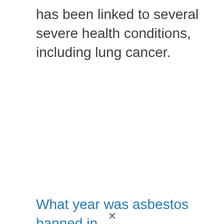has been linked to several severe health conditions, including lung cancer.
What year was asbestos banned in